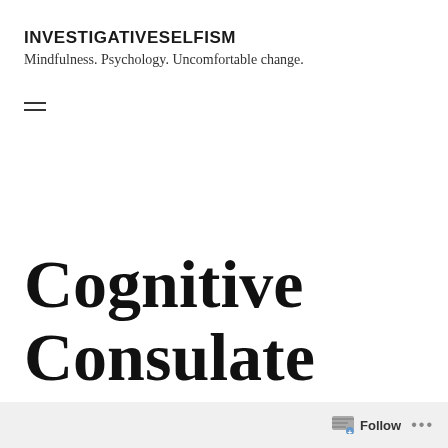INVESTIGATIVESELFISM
Mindfulness. Psychology. Uncomfortable change.
Cognitive Consulate Consistency